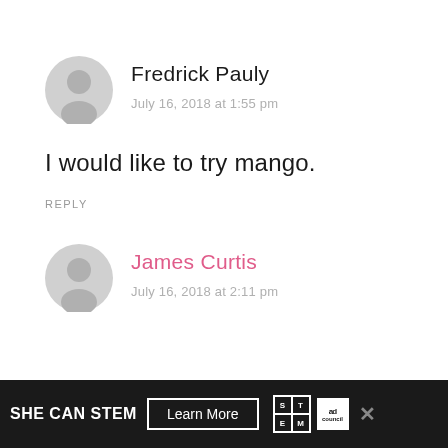Fredrick Pauly
July 16, 2018 at 1:55 pm
I would like to try mango.
REPLY
James Curtis
July 16, 2018 at 2:11 pm
[Figure (infographic): Ad banner: SHE CAN STEM with Learn More button, STEM logo, Ad Council logo, and close X button]